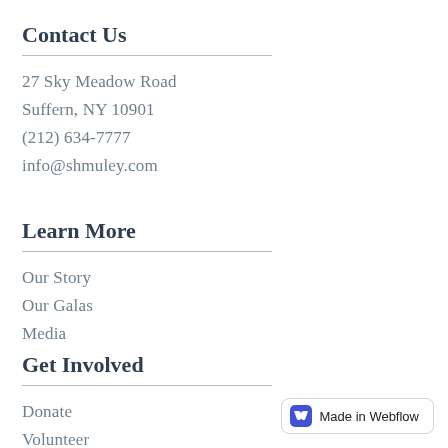Contact Us
27 Sky Meadow Road
Suffern, NY 10901
(212) 634-7777
info@shmuley.com
Learn More
Our Story
Our Galas
Media
Get Involved
Donate
Volunteer